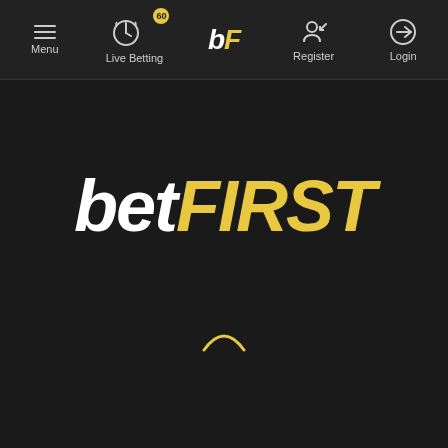Menu | Live Betting 60 | bF | Register | Login
[Figure (logo): betFIRST brand logo with 'bet' in white italic bold and 'FIRST' in yellow italic bold, large centered on dark background]
[Figure (other): Yellow loading spinner arc on dark background]